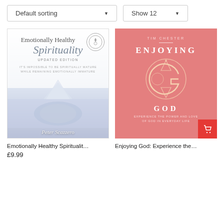Default sorting ▼
Show 12 ▼
[Figure (illustration): Book cover: Emotionally Healthy Spirituality Updated Edition by Peter Scazzero. White/blue cover with iceberg image above and below water.]
Emotionally Healthy Spiritualit…
£9.99
[Figure (illustration): Book cover: Enjoying God: Experience the Power and Love of God in Everyday Life by Tim Chester. Pink cover with large decorative G monogram.]
Enjoying God: Experience the…